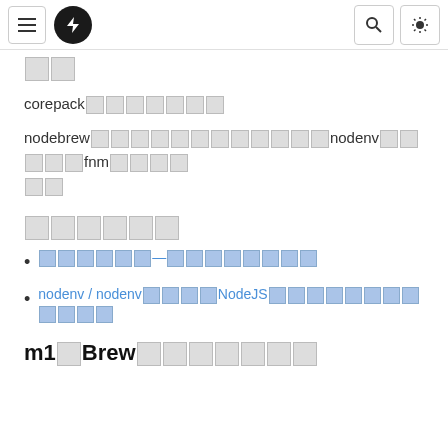[hamburger menu] [lightning icon] [search icon] [theme icon]
□□
corepack□□□□□□□
nodebrew□□□□□□□□□□□□nodenv□□□□□fnm□□□□□□
□□□□□□
□□□□□□—□□□□□□□□□
nodenv / nodenv□□□□NodeJS□□□□□□□□□□□□
m1□Brew□□□□□□□